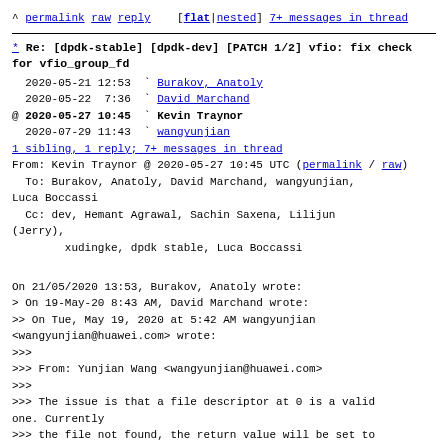^ permalink raw reply  [flat|nested] 7+ messages in thread
* Re: [dpdk-stable] [dpdk-dev] [PATCH 1/2] vfio: fix check for vfio_group_fd
2020-05-21 12:53  ` Burakov, Anatoly
2020-05-22  7:36  ` David Marchand
@ 2020-05-27 10:45  ` Kevin Traynor
2020-07-29 11:43  ` wangyunjian
1 sibling, 1 reply; 7+ messages in thread
From: Kevin Traynor @ 2020-05-27 10:45 UTC (permalink / raw)
  To: Burakov, Anatoly, David Marchand, wangyunjian, Luca Boccassi
  Cc: dev, Hemant Agrawal, Sachin Saxena, Lilijun (Jerry),
        xudingke, dpdk stable, Luca Boccassi
On 21/05/2020 13:53, Burakov, Anatoly wrote:
> On 19-May-20 8:43 AM, David Marchand wrote:
>> On Tue, May 19, 2020 at 5:42 AM wangyunjian
<wangyunjian@huawei.com> wrote:
>>>
>>> From: Yunjian Wang <wangyunjian@huawei.com>
>>>
>>> The issue is that a file descriptor at 0 is a valid one. Currently
>>> the file not found, the return value will be set to